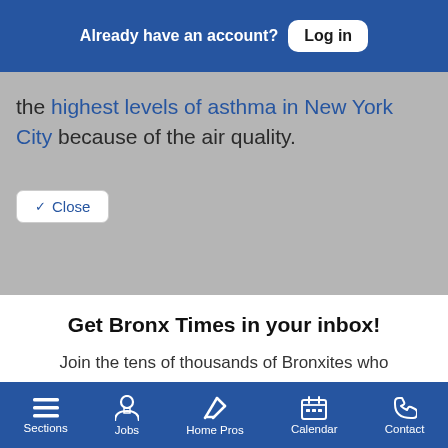Already have an account? Log in
the highest levels of asthma in New York City because of the air quality.
Close
Get Bronx Times in your inbox!
Join the tens of thousands of Bronxites who receive Bronx Times newsletters to stay informed about their communities.
Free Newsletters 2
Bronx Times Daily Newsletter
Bronx Times Events
Sections  Jobs  Home Pros  Calendar  Contact